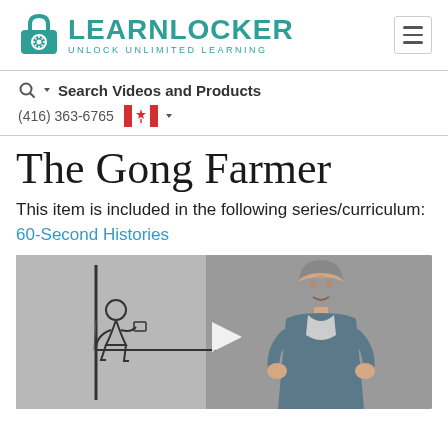[Figure (logo): LearnLocker logo with teal lock icon and text 'LEARNLOCKER UNLOCK UNLIMITED LEARNING']
Search Videos and Products
(416) 363-6765
The Gong Farmer
This item is included in the following series/curriculum: 60-Second Histories
[Figure (screenshot): Video thumbnail showing a sketch illustration of a figure on left and a woman in historical costume on right, with a play button in the center]